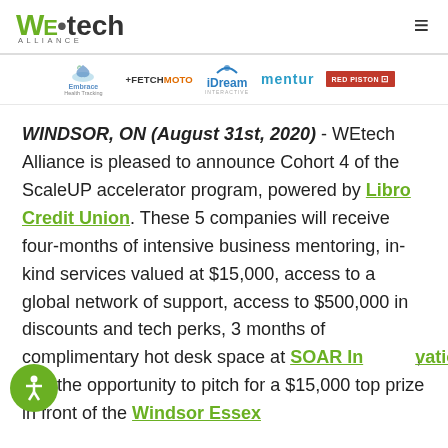WE·tech ALLIANCE [hamburger menu icon]
[Figure (logo): Five company logos in a horizontal strip: Embrace Health Tracking, +FETCH MOTO, iDream Interactive, mentur, RED PISTON]
WINDSOR, ON (August 31st, 2020) - WEtech Alliance is pleased to announce Cohort 4 of the ScaleUP accelerator program, powered by Libro Credit Union. These 5 companies will receive four-months of intensive business mentoring, in-kind services valued at $15,000, access to a global network of support, access to $500,000 in discounts and tech perks, 3 months of complimentary hot desk space at SOAR Innovation, and the opportunity to pitch for a $15,000 top prize in front of the Windsor Essex